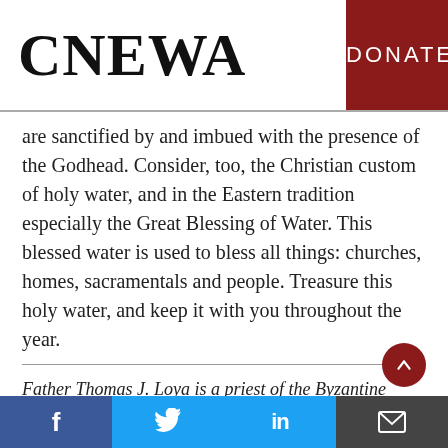CNEWA | DONATE
are sanctified by and imbued with the presence of the Godhead. Consider, too, the Christian custom of holy water, and in the Eastern tradition especially the Great Blessing of Water. This blessed water is used to bless all things: churches, homes, sacramentals and people. Treasure this holy water, and keep it with you throughout the year.
Father Thomas J. Loya is a priest of the Byzantine Catholic Eparchy of Parma and an
f  [twitter]  in  [email]